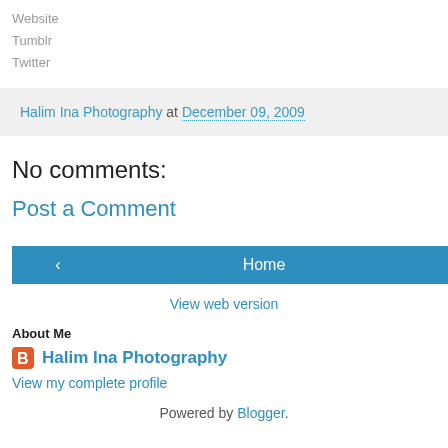Website
Tumblr
Twitter
Halim Ina Photography at December 09, 2009
No comments:
Post a Comment
‹  Home  ›
View web version
About Me
Halim Ina Photography
View my complete profile
Powered by Blogger.